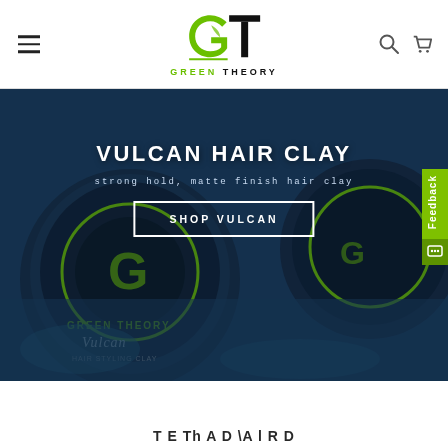[Figure (logo): Green Theory logo — stylized G and T letterforms in black with a lime-green leaf accent, with GREEN THEORY text below in green and black]
[Figure (photo): Hero banner showing Green Theory Vulcan Hair Styling Clay product containers on a blue background, with overlaid text VULCAN HAIR CLAY, subtitle 'strong hold, matte finish hair clay', and a SHOP VULCAN button]
VULCAN HAIR CLAY
strong hold, matte finish hair clay
SHOP VULCAN